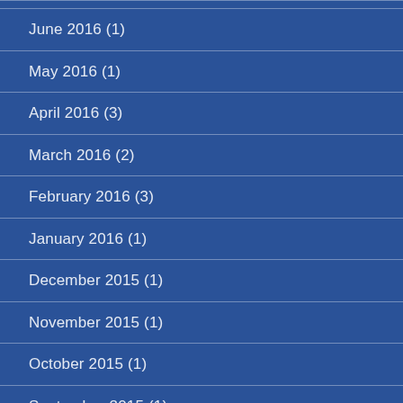June 2016 (1)
May 2016 (1)
April 2016 (3)
March 2016 (2)
February 2016 (3)
January 2016 (1)
December 2015 (1)
November 2015 (1)
October 2015 (1)
September 2015 (1)
August 2015 (1)